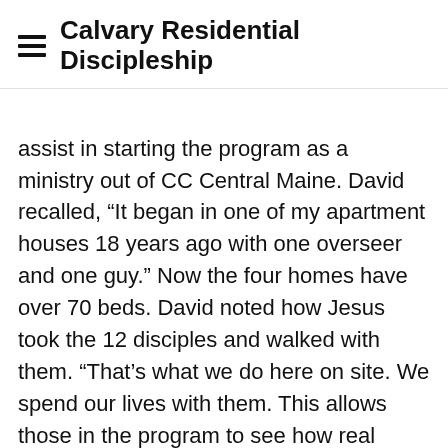≡  Calvary Residential Discipleship
assist in starting the program as a ministry out of CC Central Maine. David recalled, “It began in one of my apartment houses 18 years ago with one overseer and one guy.” Now the four homes have over 70 beds. David noted how Jesus took the 12 disciples and walked with them. “That’s what we do here on site. We spend our lives with them. This allows those in the program to see how real Christian men treat their wives and families, how a Christian woman acts and treats loved ones.” The participants become part of the church family; men park cars and women in the café serve food.